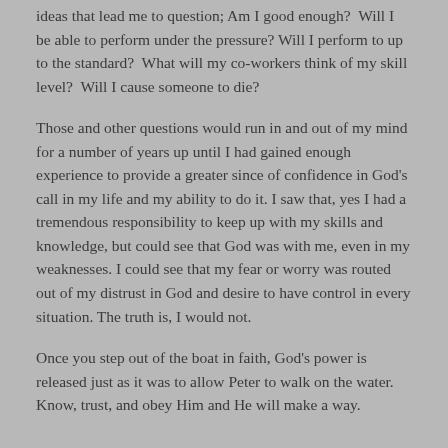ideas that lead me to question; Am I good enough?  Will I be able to perform under the pressure? Will I perform to up to the standard?  What will my co-workers think of my skill level?  Will I cause someone to die?
Those and other questions would run in and out of my mind for a number of years up until I had gained enough experience to provide a greater since of confidence in God's call in my life and my ability to do it. I saw that, yes I had a tremendous responsibility to keep up with my skills and knowledge, but could see that God was with me, even in my weaknesses. I could see that my fear or worry was routed out of my distrust in God and desire to have control in every situation. The truth is, I would not.
Once you step out of the boat in faith, God's power is released just as it was to allow Peter to walk on the water. Know, trust, and obey Him and He will make a way.